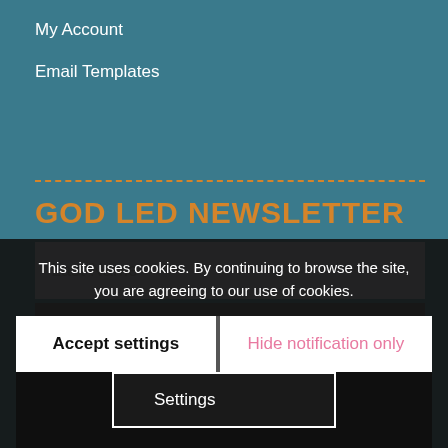My Account
Email Templates
GOD LED NEWSLETTER
Last Name
First Name
Email Address
This site uses cookies. By continuing to browse the site, you are agreeing to our use of cookies.
Accept settings
Hide notification only
Settings